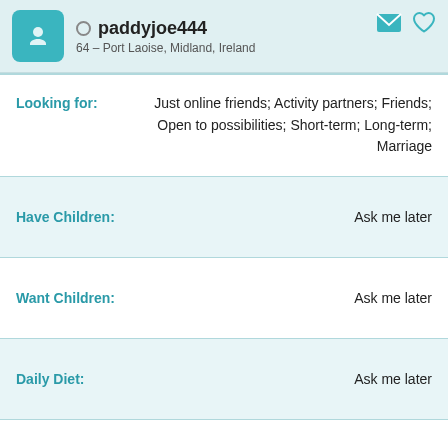paddyjoe444 – 64 – Port Laoise, Midland, Ireland
Looking for: Just online friends; Activity partners; Friends; Open to possibilities; Short-term; Long-term; Marriage
| Field | Value |
| --- | --- |
| Have Children: | Ask me later |
| Want Children: | Ask me later |
| Daily Diet: | Ask me later |
| Smoking: | Ask me later |
| Drinking: | Ask me later |
| Education: | Ask me later |